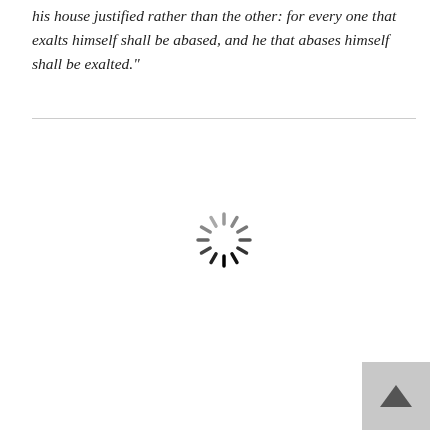his house justified rather than the other: for every one that exalts himself shall be abased, and he that abases himself shall be exalted."
[Figure (other): A loading spinner icon (circular dashed wheel) centered on the page, indicating content is loading.]